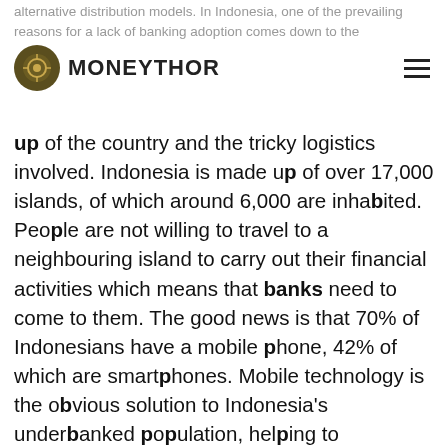MONEYTHOR
alternative distribution models. In Indonesia, one of the prevailing reasons for a lack of banking adoption comes down to the geographical make-up of the country and the tricky logistics involved. Indonesia is made up of over 17,000 islands, of which around 6,000 are inhabited. People are not willing to travel to a neighbouring island to carry out their financial activities which means that banks need to come to them. The good news is that 70% of Indonesians have a mobile phone, 42% of which are smartphones. Mobile technology is the obvious solution to Indonesia's underbanked population, helping to overcome the logistical issue associated with having a physical presence on every island. However, even with mobile technology available, setting up in a market like Indonesia comes with a number of challenges that banks need to overcome.